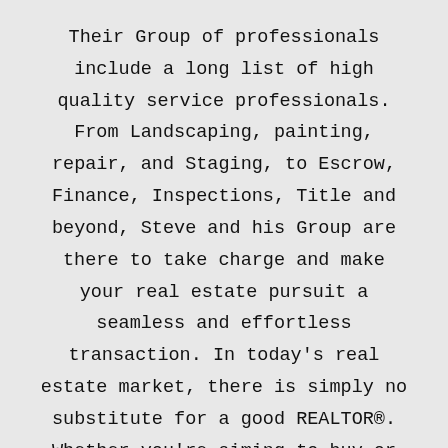Their Group of professionals include a long list of high quality service professionals. From Landscaping, painting, repair, and Staging, to Escrow, Finance, Inspections, Title and beyond, Steve and his Group are there to take charge and make your real estate pursuit a seamless and effortless transaction. In today's real estate market, there is simply no substitute for a good REALTOR®. Whether you're aiming to buy or sell property, a REALTOR® can spell the difference between a smooth transaction and an unsuccessful one. The dedicated and knowledgeable staff at Lincoln Realty Group and Aviara Resort Properties can provide you with the highly specialized Aviara, Carlsbad and North San